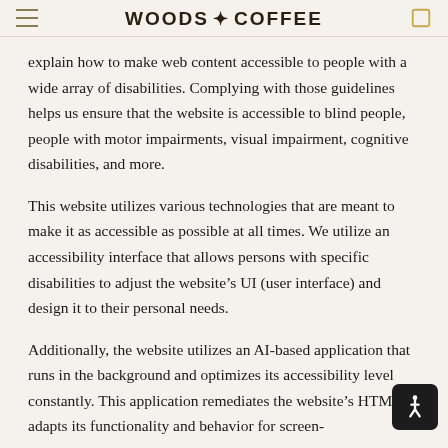WOODS COFFEE
explain how to make web content accessible to people with a wide array of disabilities. Complying with those guidelines helps us ensure that the website is accessible to blind people, people with motor impairments, visual impairment, cognitive disabilities, and more.
This website utilizes various technologies that are meant to make it as accessible as possible at all times. We utilize an accessibility interface that allows persons with specific disabilities to adjust the website’s UI (user interface) and design it to their personal needs.
Additionally, the website utilizes an AI-based application that runs in the background and optimizes its accessibility level constantly. This application remediates the website’s HTML, adapts its functionality and behavior for screen-